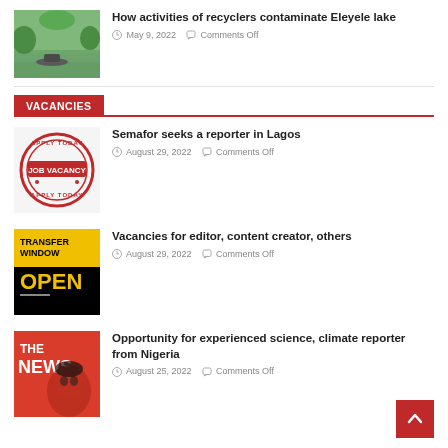[Figure (photo): Photo of a lake with a boat, green vegetation]
How activities of recyclers contaminate Eleyele lake
May 9, 2022   Comments Off
VACANCIES
[Figure (illustration): Job Vacancy stamp logo: Apply Today, JOB VACANCY, Apply Today in red circular stamp]
Semafor seeks a reporter in Lagos
August 29, 2022   Comments Off
[Figure (illustration): Transfer Window Open - yellow and black graphic]
Vacancies for editor, content creator, others
August 29, 2022   Comments Off
[Figure (illustration): The News magazine cover in red with illustrated face]
Opportunity for experienced science, climate reporter from Nigeria
August 25, 2022   Comments Off